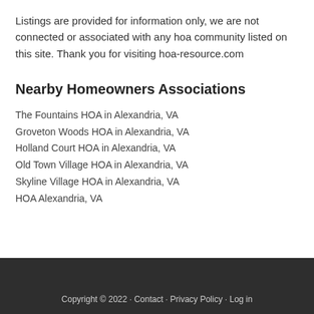Listings are provided for information only, we are not connected or associated with any hoa community listed on this site. Thank you for visiting hoa-resource.com
Nearby Homeowners Associations
The Fountains HOA in Alexandria, VA
Groveton Woods HOA in Alexandria, VA
Holland Court HOA in Alexandria, VA
Old Town Village HOA in Alexandria, VA
Skyline Village HOA in Alexandria, VA
HOA Alexandria, VA
Copyright © 2022 · Contact · Privacy Policy · Log in